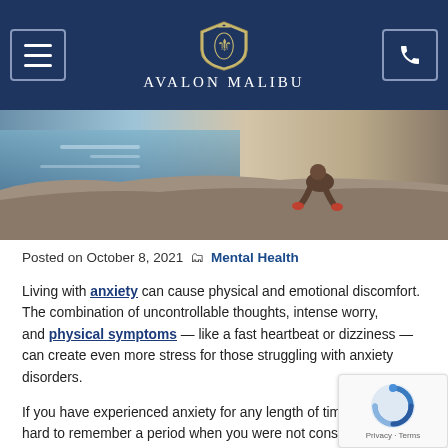Avalon Malibu
[Figure (photo): Person sitting on rocky coastline near ocean water, viewed from behind/side]
Posted on October 8, 2021  Mental Health
Living with anxiety can cause physical and emotional discomfort. The combination of uncontrollable thoughts, intense worry, and physical symptoms — like a fast heartbeat or dizziness — can create even more stress for those struggling with anxiety disorders.
If you have experienced anxiety for any length of time, it can be hard to remember a period when you were not consumed. You may want to run away from the feelings it produces. pretend as though it does not exist.